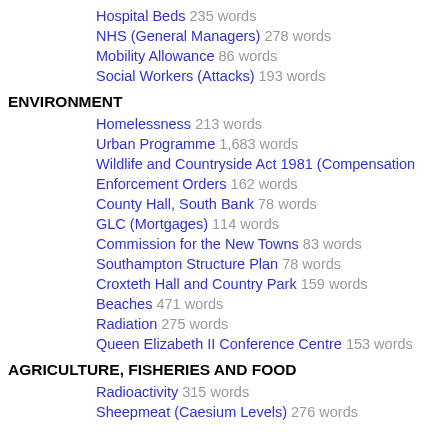Hospital Beds 235 words
NHS (General Managers) 278 words
Mobility Allowance 86 words
Social Workers (Attacks) 193 words
ENVIRONMENT
Homelessness 213 words
Urban Programme 1,683 words
Wildlife and Countryside Act 1981 (Compensation Enforcement Orders 162 words
County Hall, South Bank 78 words
GLC (Mortgages) 114 words
Commission for the New Towns 83 words
Southampton Structure Plan 78 words
Croxteth Hall and Country Park 159 words
Beaches 471 words
Radiation 275 words
Queen Elizabeth II Conference Centre 153 words
AGRICULTURE, FISHERIES AND FOOD
Radioactivity 315 words
Sheepmeat (Caesium Levels) 276 words